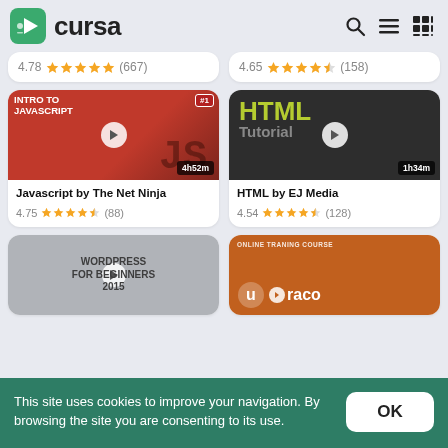Cursa
[Figure (screenshot): Rating row for previous course: 4.78 stars (667 reviews) and 4.65 stars (158 reviews)]
[Figure (screenshot): Javascript by The Net Ninja course thumbnail - red background with JS letters, #1 badge, 4h52m duration]
Javascript by The Net Ninja
4.75 (88)
[Figure (screenshot): HTML Tutorial course thumbnail - dark background with HTML Tutorial text in yellow/grey, 1h34m duration]
HTML by EJ Media
4.54 (128)
[Figure (screenshot): WordPress for Beginners 2015 course thumbnail - grey background]
[Figure (screenshot): Umbraco online training course thumbnail - orange background]
This site uses cookies to improve your navigation. By browsing the site you are consenting to its use.